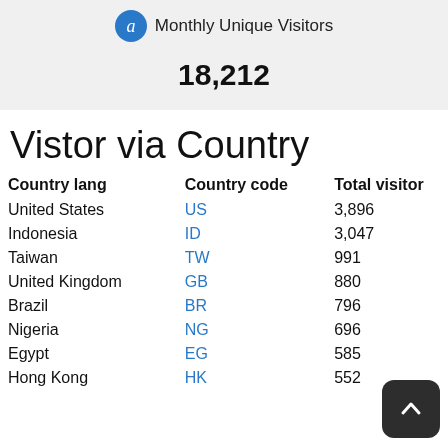[Figure (infographic): Alexa logo icon (blue circle with white 'a') next to text 'Monthly Unique Visitors']
18,212
Vistor via Country
| Country lang | Country code | Total visitor |
| --- | --- | --- |
| United States | US | 3,896 |
| Indonesia | ID | 3,047 |
| Taiwan | TW | 991 |
| United Kingdom | GB | 880 |
| Brazil | BR | 796 |
| Nigeria | NG | 696 |
| Egypt | EG | 585 |
| Hong Kong | HK | 552 |